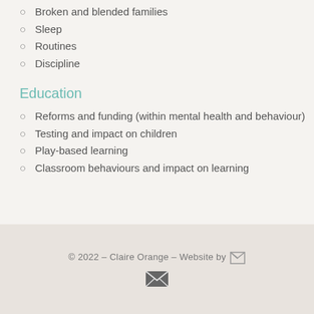Broken and blended families
Sleep
Routines
Discipline
Education
Reforms and funding (within mental health and behaviour)
Testing and impact on children
Play-based learning
Classroom behaviours and impact on learning
© 2022 – Claire Orange – Website by [logo]